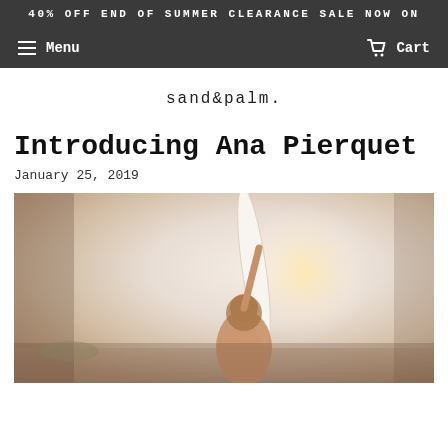40% OFF END OF SUMMER CLEARANCE SALE NOW ON
Menu   Cart
sand&palm.
Introducing Ana Pierquet
January 25, 2019
[Figure (photo): Person holding a surfboard at the beach with bright warm light; woman with long hair holding surfboard overhead against a hazy sky]